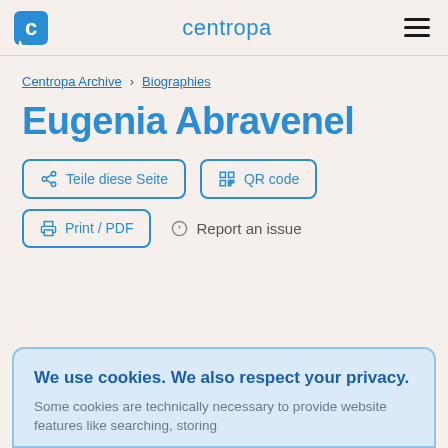centropa
Centropa Archive > Biographies
Eugenia Abravenel
Teile diese Seite   QR code
Print / PDF   Report an issue
We use cookies. We also respect your privacy.
Some cookies are technically necessary to provide website features like searching, storing